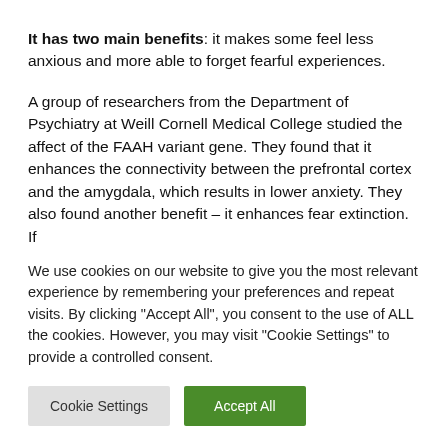It has two main benefits: it makes some feel less anxious and more able to forget fearful experiences.
A group of researchers from the Department of Psychiatry at Weill Cornell Medical College studied the affect of the FAAH variant gene. They found that it enhances the connectivity between the prefrontal cortex and the amygdala, which results in lower anxiety. They also found another benefit – it enhances fear extinction. If this can be tapped into, people who have suffered from
We use cookies on our website to give you the most relevant experience by remembering your preferences and repeat visits. By clicking "Accept All", you consent to the use of ALL the cookies. However, you may visit "Cookie Settings" to provide a controlled consent.